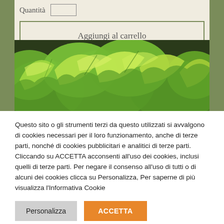Quantità
Aggiungi al carrello
[Figure (photo): Close-up photo of bright green lettuce leaves growing in a garden or hydroponic setup, viewed from above at a slight angle.]
Questo sito o gli strumenti terzi da questo utilizzati si avvalgono di cookies necessari per il loro funzionamento, anche di terze parti, nonché di cookies pubblicitari e analitici di terze parti. Cliccando su ACCETTA acconsenti all'uso dei cookies, inclusi quelli di terze parti. Per negare il consenso all'uso di tutti o di alcuni dei cookies clicca su Personalizza, Per saperne di più visualizza l'Informativa Cookie
Personalizza
ACCETTA